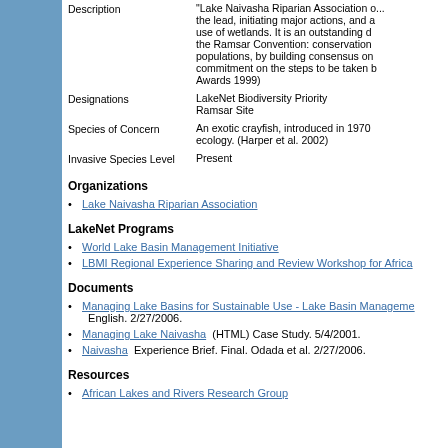Description: "Lake Naivasha Riparian Association ... the lead, initiating major actions, and ... use of wetlands. It is an outstanding d... the Ramsar Convention: conservation... populations, by building consensus on... commitment on the steps to be taken b... Awards 1999)
Designations: LakeNet Biodiversity Priority, Ramsar Site
Species of Concern: An exotic crayfish, introduced in 1970... ecology. (Harper et al. 2002)
Invasive Species Level: Present
Organizations
Lake Naivasha Riparian Association
LakeNet Programs
World Lake Basin Management Initiative
LBMI Regional Experience Sharing and Review Workshop for Africa
Documents
Managing Lake Basins for Sustainable Use - Lake Basin Manageme... English. 2/27/2006.
Managing Lake Naivasha (HTML) Case Study. 5/4/2001.
Naivasha Experience Brief. Final. Odada et al. 2/27/2006.
Resources
African Lakes and Rivers Research Group